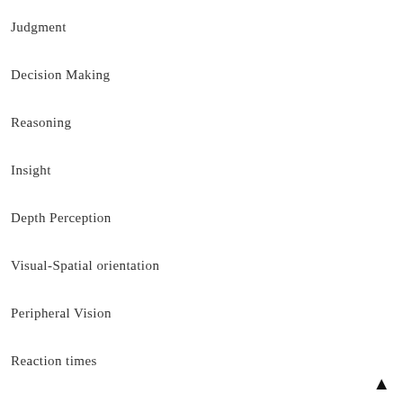Judgment
Decision Making
Reasoning
Insight
Depth Perception
Visual-Spatial orientation
Peripheral Vision
Reaction times